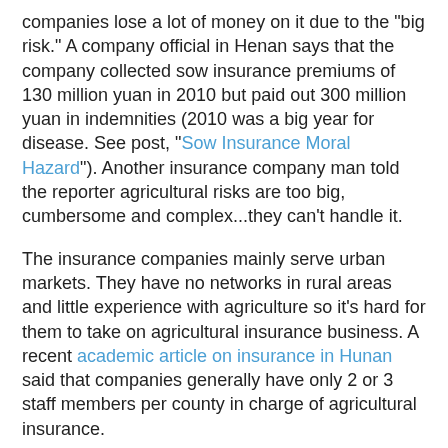companies lose a lot of money on it due to the "big risk." A company official in Henan says that the company collected sow insurance premiums of 130 million yuan in 2010 but paid out 300 million yuan in indemnities (2010 was a big year for disease. See post, "Sow Insurance Moral Hazard"). Another insurance company man told the reporter agricultural risks are too big, cumbersome and complex...they can't handle it.
The insurance companies mainly serve urban markets. They have no networks in rural areas and little experience with agriculture so it's hard for them to take on agricultural insurance business. A recent academic article on insurance in Hunan said that companies generally have only 2 or 3 staff members per county in charge of agricultural insurance.
With no presence in rural areas, it is hard for companies to verify losses and they often have disputes with farmers. Farmers expect to be compensated for the full value of their crop, but the insurance actually covers only their cash production expenses. A company official says that nearly all claims have to be settled through negotiation.